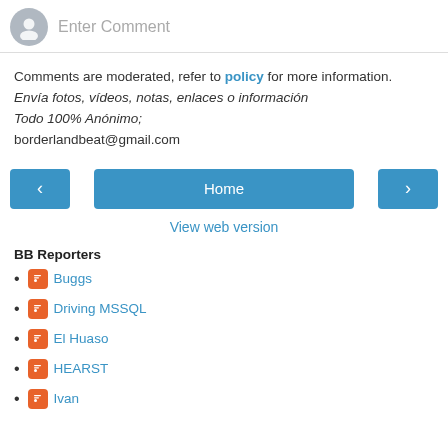Enter Comment
Comments are moderated, refer to policy for more information.
Envía fotos, vídeos, notas, enlaces o información
Todo 100% Anónimo;
borderlandbeat@gmail.com
Home
View web version
BB Reporters
Buggs
Driving MSSQL
El Huaso
HEARST
Ivan